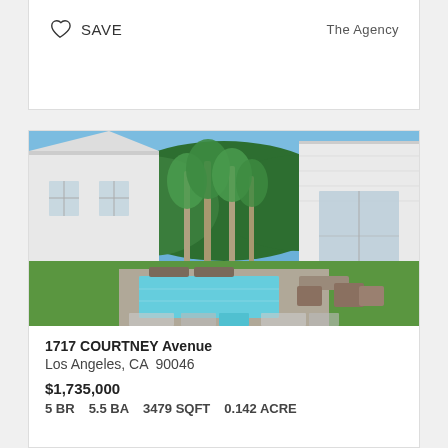SAVE
The Agency
[Figure (photo): Exterior photo of a modern white house with a rectangular swimming pool, patio loungers, and tall eucalyptus trees in the background under a blue sky.]
1717 COURTNEY Avenue
Los Angeles, CA  90046
$1,735,000
5 BR   5.5 BA   3479 SQFT   0.142 ACRE